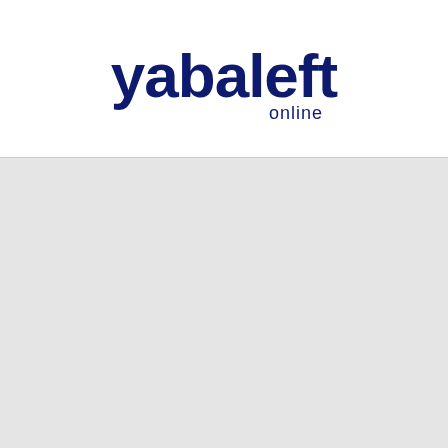[Figure (logo): Yabaleft Online logo: the word 'yabaleft' in large dark navy bold rounded font with 'online' in smaller text below and to the right, all in dark navy blue color.]